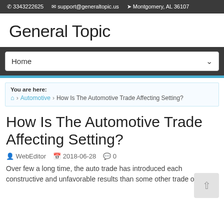3343222625   support@generaltopic.us   Montgomery, AL 36107
General Topic
Home
You are here:
🏠 › Automotive › How Is The Automotive Trade Affecting Setting?
How Is The Automotive Trade Affecting Setting?
WebEditor   2018-06-28   0
Over few a long time, the auto trade has introduced each constructive and unfavorable results than some other trade on